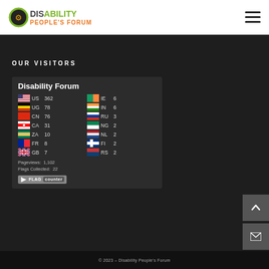DISABILITY PEOPLE'S FORUM
OUR VISITORS
[Figure (infographic): Flag counter widget showing Disability Forum visitor statistics by country: US 362, UG 78, CN 76, CA 31, ZA 10, FR 8, GB 7, IE 6, IN 6, RU 3, NG 2, NL 2, FI 2, RS 2. Pageviews: 1,102. Flags Collected: 22.]
© 2023 – Disability People's Forum